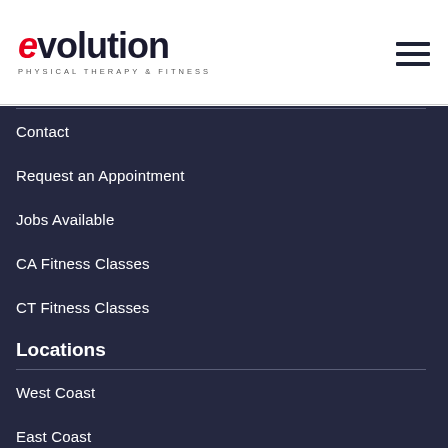[Figure (logo): Evolution Physical Therapy & Fitness logo with red italic 'e' and bold 'volution' text, subtitle 'PHYSICAL THERAPY & FITNESS']
[Figure (other): Hamburger menu icon with three horizontal bars]
Contact
Request an Appointment
Jobs Available
CA Fitness Classes
CT Fitness Classes
Locations
West Coast
East Coast
Mountain Region